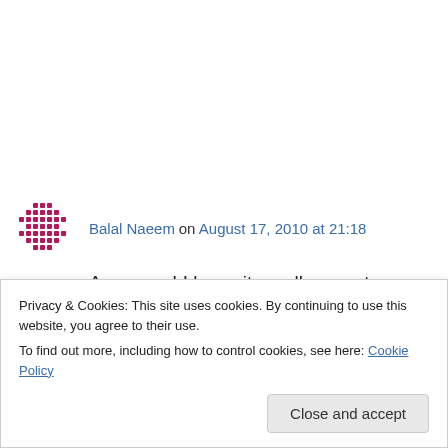[Figure (other): User avatar icon — decorative grid/diamond pattern in magenta/red on white background]
Balal Naeem on August 17, 2010 at 21:18
Awesome! I know its really an extra ordinary thing but you rightly deserve it. I am not sure if i have ever met a human like you. :)) Yes you are pretty awesome!
I will look for this book here and if i luckily find it i
Privacy & Cookies: This site uses cookies. By continuing to use this website, you agree to their use.
To find out more, including how to control cookies, see here: Cookie Policy
Close and accept